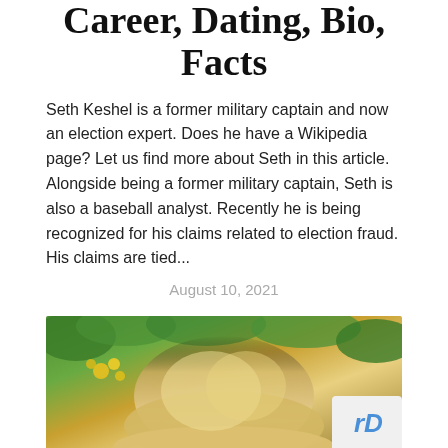Career, Dating, Bio, Facts
Seth Keshel is a former military captain and now an election expert. Does he have a Wikipedia page? Let us find more about Seth in this article. Alongside being a former military captain, Seth is also a baseball analyst. Recently he is being recognized for his claims related to election fraud. His claims are tied...
August 10, 2021
[Figure (photo): A person with blonde hair photographed outdoors with green foliage and yellow flowers in the background. A reCAPTCHA badge is visible in the bottom right corner.]